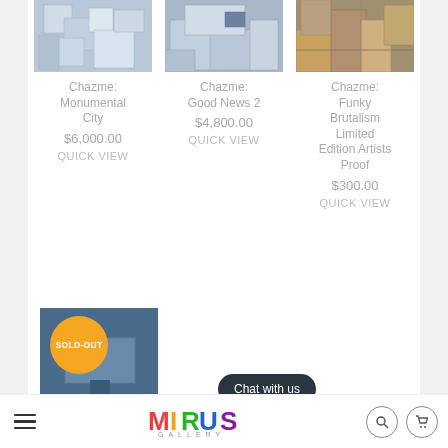[Figure (photo): Artwork thumbnail: Chazme Monumental City - abstract geometric 3D blocks]
[Figure (photo): Artwork thumbnail: Chazme Good News 2 - abstract architectural forms]
[Figure (photo): Artwork thumbnail: Chazme Funky Brutalism Limited Edition Artists Proof - colorful cityscape]
Chazme: Monumental City
$6,000.00
QUICK VIEW
Chazme: Good News 2
$4,800.00
QUICK VIEW
Chazme: Funky Brutalism Limited Edition Artists Proof
$300.00
QUICK VIEW
[Figure (photo): Artwork thumbnail with SOLD-OUT badge overlay - blue/grey abstract billboard artwork]
Chat with us
MIRUS GALLERY